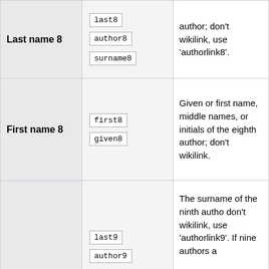| Parameter | Aliases | Description |
| --- | --- | --- |
| Last name 8 | last8 | author8
surname8 | author; don't wikilink, use 'authorlink8'. |
| First name 8 | first8 | given8 | Given or first name, middle names, or initials of the eighth author; don't wikilink. |
| (Last name 9) | last9 | author9 | The surname of the ninth author; don't wikilink, use 'authorlink9'. If nine authors are... |